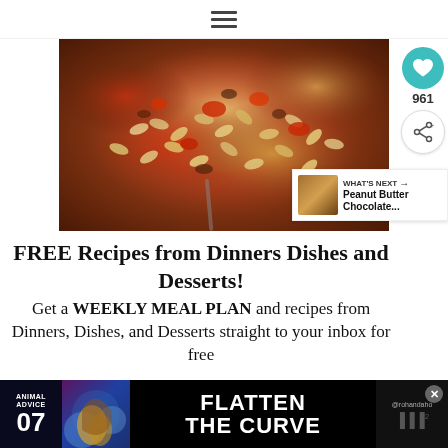☰
[Figure (photo): Close-up photo of a spoon scooping macaroni pasta with meat sauce (tomatoes, ground beef) — a goulash or beefaroni dish.]
FREE Recipes from Dinners Dishes and Desserts!
Get a WEEKLY MEAL PLAN and recipes from Dinners, Dishes, and Desserts straight to your inbox for free
[Figure (infographic): What's Next widget showing a thumbnail of peanut butter chocolate cookies with text 'WHAT'S NEXT → Peanut Butter Chocolate...']
[Figure (infographic): Advertisement banner: Animal Advice 07 / FLATTEN THE CURVE with colorful illustration and @rohandaho handle]